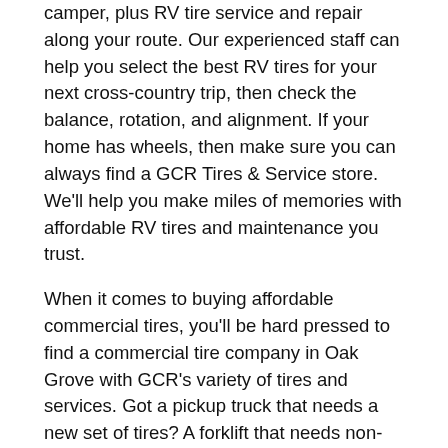camper, plus RV tire service and repair along your route. Our experienced staff can help you select the best RV tires for your next cross-country trip, then check the balance, rotation, and alignment. If your home has wheels, then make sure you can always find a GCR Tires & Service store. We'll help you make miles of memories with affordable RV tires and maintenance you trust.
When it comes to buying affordable commercial tires, you'll be hard pressed to find a commercial tire company in Oak Grove with GCR's variety of tires and services. Got a pickup truck that needs a new set of tires? A forklift that needs non-marking forklift tires? Wheel refurbishing for trucks? Browse tires online and visit GCR Tires & Service near Oak Grove.
KEEP GOING WITH 24/7 GCR ROADSIDE ASSISTANCE NEAR OAK GROVE
To get work done, you need more than great tires. You also need proactive vehicle maintenance and timely tire repairs. We have a countrywide network of commercial tire stores and service trucks, ready to meet you at your point of need. Reach out to GCR Tires &